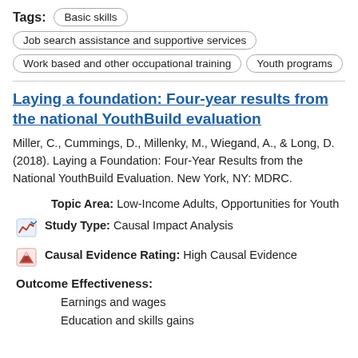Tags: Basic skills | Job search assistance and supportive services | Work based and other occupational training | Youth programs
Laying a foundation: Four-year results from the national YouthBuild evaluation
Miller, C., Cummings, D., Millenky, M., Wiegand, A., & Long, D. (2018). Laying a Foundation: Four-Year Results from the National YouthBuild Evaluation. New York, NY: MDRC.
Topic Area: Low-Income Adults, Opportunities for Youth
Study Type: Causal Impact Analysis
Causal Evidence Rating: High Causal Evidence
Outcome Effectiveness:
Earnings and wages
Education and skills gains